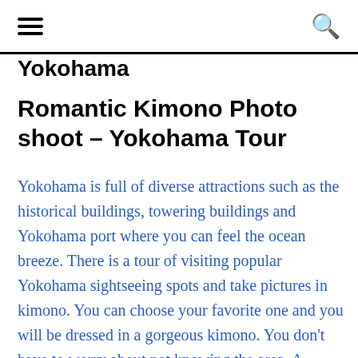Yokohama
Romantic Kimono Photo shoot – Yokohama Tour
Yokohama is full of diverse attractions such as the historical buildings, towering buildings and Yokohama port where you can feel the ocean breeze. There is a tour of visiting popular Yokohama sightseeing spots and take pictures in kimono. You can choose your favorite one and you will be dressed in a gorgeous kimono. You don't have to worry about not knowing the area. A professional guide will take you to the famous sightseeing spots in Yokohama.